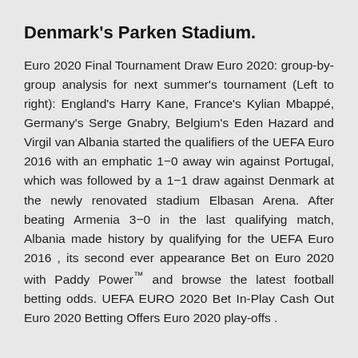Denmark's Parken Stadium.
Euro 2020 Final Tournament Draw Euro 2020: group-by-group analysis for next summer's tournament (Left to right): England's Harry Kane, France's Kylian Mbappé, Germany's Serge Gnabry, Belgium's Eden Hazard and Virgil van Albania started the qualifiers of the UEFA Euro 2016 with an emphatic 1−0 away win against Portugal, which was followed by a 1−1 draw against Denmark at the newly renovated stadium Elbasan Arena. After beating Armenia 3−0 in the last qualifying match, Albania made history by qualifying for the UEFA Euro 2016 , its second ever appearance Bet on Euro 2020 with Paddy Power™ and browse the latest football betting odds. UEFA EURO 2020 Bet In-Play Cash Out Euro 2020 Betting Offers Euro 2020 play-offs .